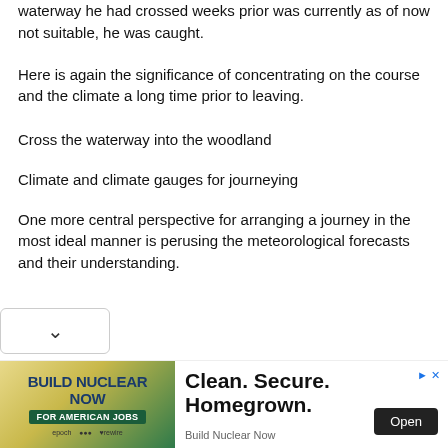waterway he had crossed weeks prior was currently as of now not suitable, he was caught.
Here is again the significance of concentrating on the course and the climate a long time prior to leaving.
Cross the waterway into the woodland
Climate and climate gauges for journeying
One more central perspective for arranging a journey in the most ideal manner is perusing the meteorological forecasts and their understanding.
[Figure (screenshot): Advertisement banner: BUILD NUCLEAR NOW FOR AMERICAN JOBS with Clean. Secure. Homegrown. headline and Open button]
Build Nuclear Now